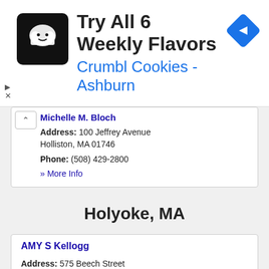[Figure (screenshot): Advertisement banner for Crumbl Cookies - Ashburn with cookie logo icon, navigation arrow icon, and ad badge]
Michelle M. Bloch
Address: 100 Jeffrey Avenue
Holliston, MA 01746
Phone: (508) 429-2800
» More Info
Holyoke, MA
AMY S Kellogg
Address: 575 Beech Street
Holyoke, MA 01040